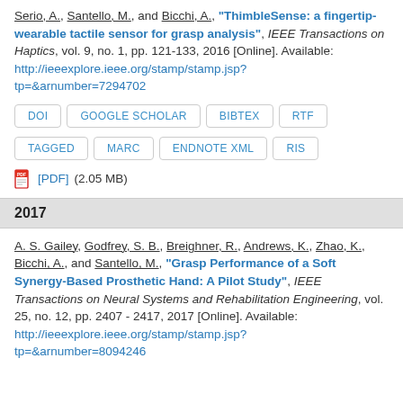Serio, A., Santello, M., and Bicchi, A., "ThimbleSense: a fingertip-wearable tactile sensor for grasp analysis", IEEE Transactions on Haptics, vol. 9, no. 1, pp. 121-133, 2016 [Online]. Available: http://ieeexplore.ieee.org/stamp/stamp.jsp?tp=&arnumber=7294702
DOI
GOOGLE SCHOLAR
BIBTEX
RTF
TAGGED
MARC
ENDNOTE XML
RIS
[PDF] (2.05 MB)
2017
A. S. Gailey, Godfrey, S. B., Breighner, R., Andrews, K., Zhao, K., Bicchi, A., and Santello, M., "Grasp Performance of a Soft Synergy-Based Prosthetic Hand: A Pilot Study", IEEE Transactions on Neural Systems and Rehabilitation Engineering, vol. 25, no. 12, pp. 2407 - 2417, 2017 [Online]. Available: http://ieeexplore.ieee.org/stamp/stamp.jsp?tp=&arnumber=8094246